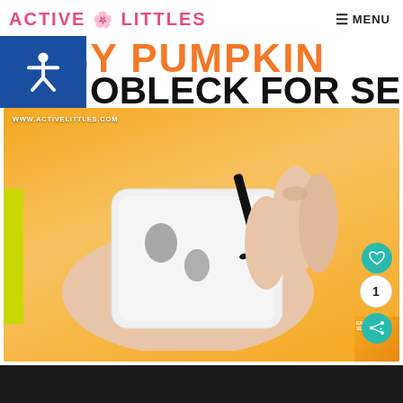ACTIVE LITTLES — MENU
EASY PUMPKIN OOBLECK FOR SENSORY PLAY
[Figure (photo): A hand holding a small white cup being decorated with a black marker to look like a ghost face. Orange background with green edge. Watermark: www.activelittles.com. Heart button, share button, and count '1' visible on right side.]